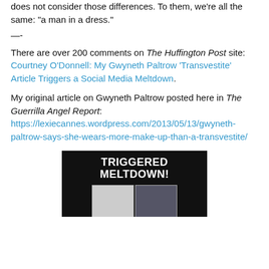does not consider those differences. To them, we're all the same: “a man in a dress.”
—-
There are over 200 comments on The Huffington Post site: Courtney O’Donnell: My Gwyneth Paltrow ‘Transvestite’ Article Triggers a Social Media Meltdown.
My original article on Gwyneth Paltrow posted here in The Guerrilla Angel Report: https://lexiecannes.wordpress.com/2013/05/13/gwyneth-paltrow-says-she-wears-more-make-up-than-a-transvestite/
[Figure (photo): A banner image with black background showing 'TRIGGERED MELTDOWN!' in large bold white text, with two side-by-side photos of blonde women below.]